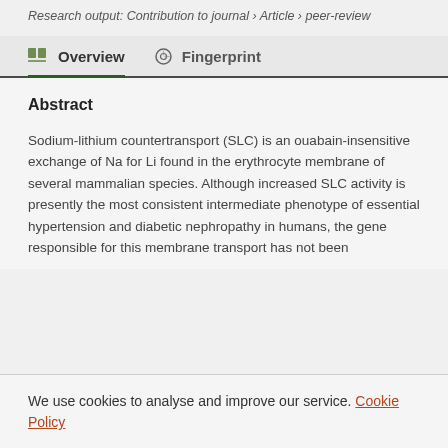Research output: Contribution to journal › Article › peer-review
Overview   Fingerprint
Abstract
Sodium-lithium countertransport (SLC) is an ouabain-insensitive exchange of Na for Li found in the erythrocyte membrane of several mammalian species. Although increased SLC activity is presently the most consistent intermediate phenotype of essential hypertension and diabetic nephropathy in humans, the gene responsible for this membrane transport has not been
We use cookies to analyse and improve our service. Cookie Policy